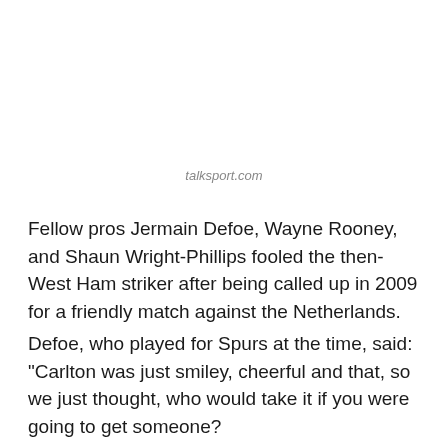talksport.com
Fellow pros Jermain Defoe, Wayne Rooney, and Shaun Wright-Phillips fooled the then-West Ham striker after being called up in 2009 for a friendly match against the Netherlands.
Defoe, who played for Spurs at the time, said: "Carlton was just smiley, cheerful and that, so we just thought, who would take it if you were going to get someone?